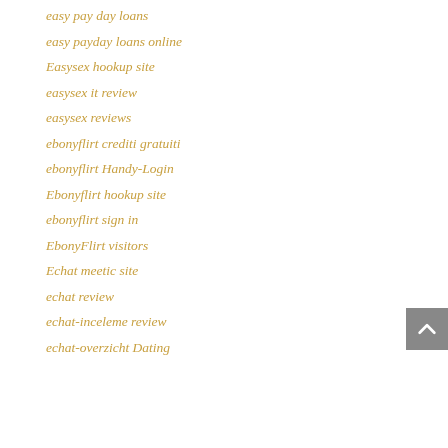easy pay day loans
easy payday loans online
Easysex hookup site
easysex it review
easysex reviews
ebonyflirt crediti gratuiti
ebonyflirt Handy-Login
Ebonyflirt hookup site
ebonyflirt sign in
EbonyFlirt visitors
Echat meetic site
echat review
echat-inceleme review
echat-overzicht Dating